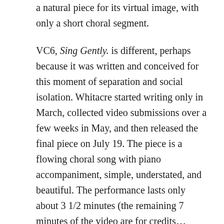a natural piece for its virtual image, with only a short choral segment.
VC6, Sing Gently. is different, perhaps because it was written and conceived for this moment of separation and social isolation. Whitacre started writing only in March, collected video submissions over a few weeks in May, and then released the final piece on July 19. The piece is a flowing choral song with piano accompaniment, simple, understated, and beautiful. The performance lasts only about 3 1/2 minutes (the remaining 7 minutes of the video are for credits… everyone gets acknowledged!).
The visuals for this work take greater prominence, moving away from the faux conductor and chorus placement of some previous videos, leaning into the